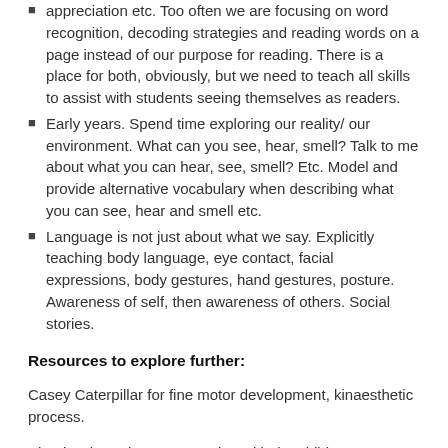appreciation etc. Too often we are focusing on word recognition, decoding strategies and reading words on a page instead of our purpose for reading. There is a place for both, obviously, but we need to teach all skills to assist with students seeing themselves as readers.
Early years. Spend time exploring our reality/ our environment. What can you see, hear, smell? Talk to me about what you can hear, see, smell? Etc. Model and provide alternative vocabulary when describing what you can see, hear and smell etc.
Language is not just about what we say. Explicitly teaching body language, eye contact, facial expressions, body gestures, hand gestures, posture. Awareness of self, then awareness of others. Social stories.
Resources to explore further:
Casey Caterpillar for fine motor development, kinaesthetic process.
Phonics through songs, starting with the child's own name to